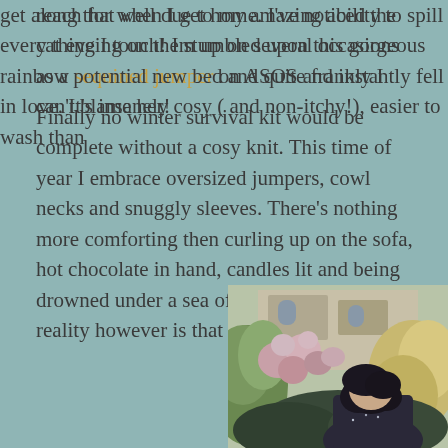reach for when I get home. I've noticed the cat eyeing on them up on several occasions as a potential new bed and quite frankly I can't blame her!
Finally no winter survival kit would be complete without a cosy knit. This time of year I embrace oversized jumpers, cowl necks and snuggly sleeves. There's nothing more comforting then curling up on the sofa, hot chocolate in hand, candles lit and being drowned under a sea of cashmere. The reality however is that cashmere and I don't get along that well due to my amazing ability to spill every thing I touch! I stumbled upon this gorgeous rainbow sequined jumper on ASOS and instantly fell in love. It's insanely cosy ( and non-itchy!), easier to wash than
[Figure (photo): A woman with dark hair looking down, wearing a dark sparkly/sequined jumper, standing in front of lush flowering bushes and greenery with a stone building visible in the background.]